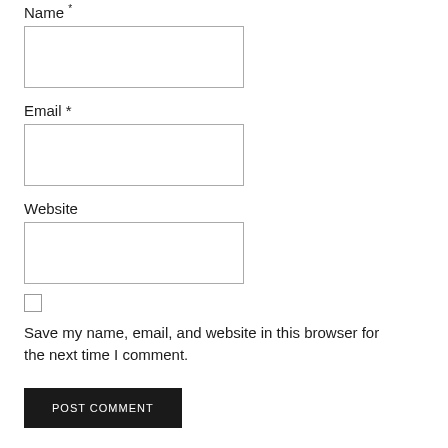Name *
[Figure (other): Empty text input field for Name]
Email *
[Figure (other): Empty text input field for Email]
Website
[Figure (other): Empty text input field for Website]
Save my name, email, and website in this browser for the next time I comment.
[Figure (other): POST COMMENT button, dark background with white uppercase text]